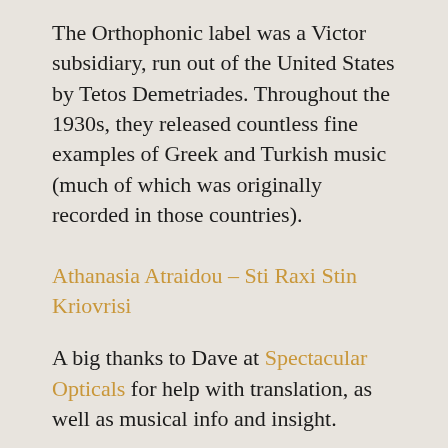The Orthophonic label was a Victor subsidiary, run out of the United States by Tetos Demetriades. Throughout the 1930s, they released countless fine examples of Greek and Turkish music (much of which was originally recorded in those countries).
Athanasia Atraidou – Sti Raxi Stin Kriovrisi
A big thanks to Dave at Spectacular Opticals for help with translation, as well as musical info and insight.
Technical Notes
Label: Orthophonic